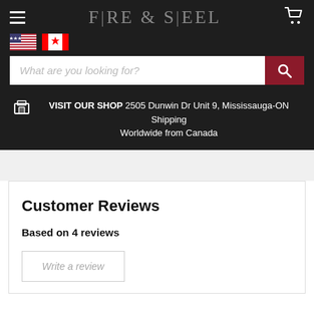FIRE & STEEL
[Figure (screenshot): US and Canadian flag icons for currency/region selection]
What are you looking for?
VISIT OUR SHOP 2505 Dunwin Dr Unit 9, Mississauga-ON Shipping Worldwide from Canada
Customer Reviews
Based on 4 reviews
Write a review